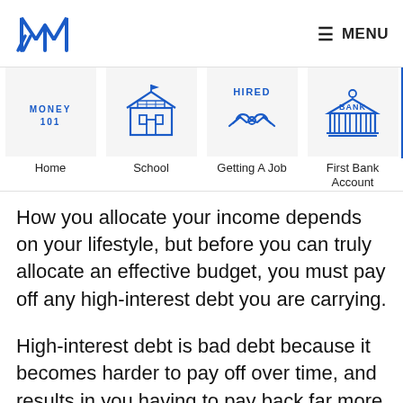M logo | MENU
[Figure (screenshot): Navigation menu with icons: Home (Money 101), School, Getting A Job, First Bank Account, and a partially visible fifth item. Icons are blue line drawings on light grey boxes.]
How you allocate your income depends on your lifestyle, but before you can truly allocate an effective budget, you must pay off any high-interest debt you are carrying.
High-interest debt is bad debt because it becomes harder to pay off over time, and results in you having to pay back far more than you ever